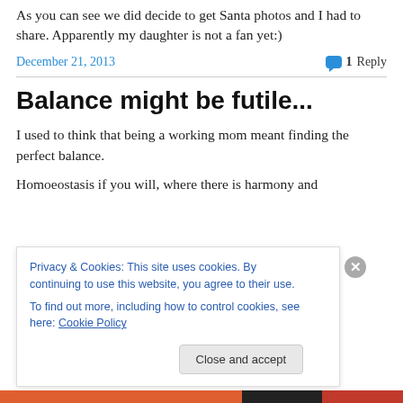As you can see we did decide to get Santa photos and I had to share. Apparently my daughter is not a fan yet:)
December 21, 2013   1 Reply
Balance might be futile...
I used to think that being a working mom meant finding the perfect balance.
Homoeostasis if you will, where there is harmony and
Privacy & Cookies: This site uses cookies. By continuing to use this website, you agree to their use. To find out more, including how to control cookies, see here: Cookie Policy
Close and accept